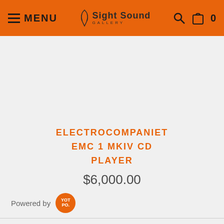MENU | Sight Sound Gallery | Search | Cart | 0
ELECTROCOMPANIET EMC 1 MKIV CD PLAYER
$6,000.00
Powered by YOTPO
Win a Free Bluetooth Speaker.